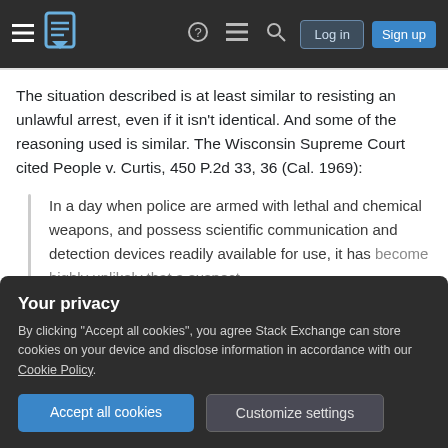Stack Exchange navigation bar with hamburger menu, logo, help, chat, search icons, Log in and Sign up buttons
The situation described is at least similar to resisting an unlawful arrest, even if it isn't identical. And some of the reasoning used is similar. The Wisconsin Supreme Court cited People v. Curtis, 450 P.2d 33, 36 (Cal. 1969):
In a day when police are armed with lethal and chemical weapons, and possess scientific communication and detection devices readily available for use, it has become highly unlikely that a suspect [text continues]
prolonged.
Your privacy
By clicking "Accept all cookies", you agree Stack Exchange can store cookies on your device and disclose information in accordance with our Cookie Policy.
[Accept all cookies] [Customize settings]